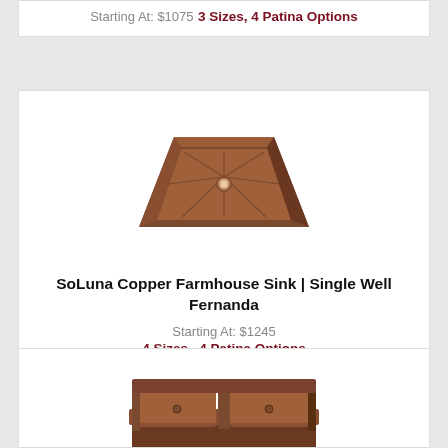Starting At: $1075
3 Sizes, 4 Patina Options
[Figure (photo): SoLuna copper single well farmhouse sink Fernanda, dark copper patina, top-down angled view showing interior star/cross pattern and drain hole]
SoLuna Copper Farmhouse Sink | Single Well Fernanda
Starting At: $1245
4 Sizes , 4 Patina Options
[Figure (photo): SoLuna copper double well farmhouse apron sink, dark copper patina, angled front/top view showing two wells and apron front]